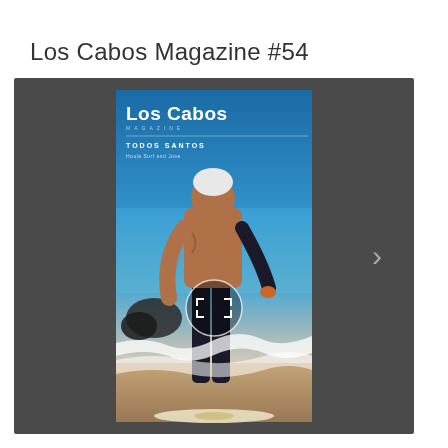Los Cabos Magazine #54
[Figure (screenshot): A dark-panel magazine viewer showing the cover of Los Cabos Magazine #54. The cover features an older man with white hair, shirtless on top, wearing dark wetsuit pants, standing on a surfboard on a beach with ocean behind him. The cover shows 'Los Cabos MAGAZINE' logo in white, 'TODOS SANTOS' and 'Hoola Surf and Jose' text. A fullscreen expand button (circle with bracket icon) is overlaid in the center. A right navigation arrow (>) is visible on the right side of the dark panel.]